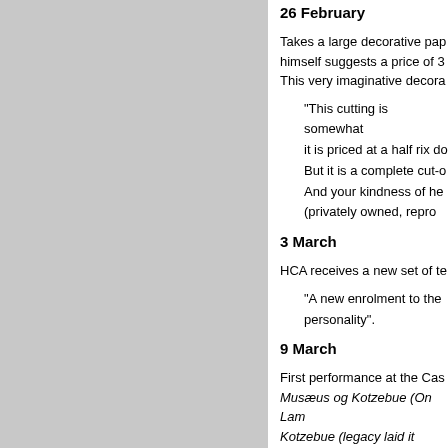26 February
Takes a large decorative pap himself suggests a price of 3 This very imaginative decora
"This cutting is somewhat it is priced at a half rix do But it is a complete cut-o And your kindness of he (privately owned, reprod
3 March
HCA receives a new set of te
"A new enrolment to the personality".
9 March
First performance at the Cas Musæus og Kotzebue (On Lam Katzebue floese lei it